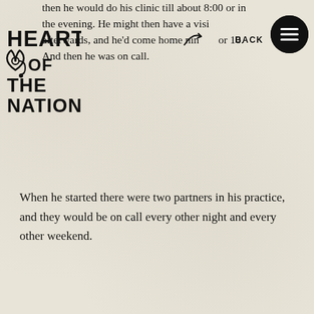then he would do his clinic till about 8:00 or in the evening. He might then have a visit, afterwards, and he'd come home nine or 10. And then he was on call.
[Figure (logo): Heart of the Nation logo with stethoscope heart icon and bold uppercase text]
When he started there were two partners in his practice, and they would be on call every other night and every other weekend.